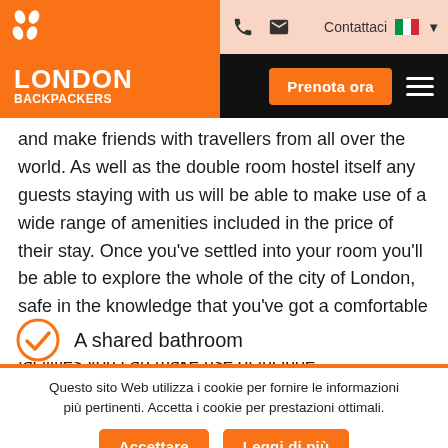[Figure (logo): London Backpackers logo with orange background, white dot pattern, phone and email icons, Contattaci text with Italian flag, Prenota ora button, hamburger menu]
and make friends with travellers from all over the world. As well as the double room hostel itself any guests staying with us will be able to make use of a wide range of amenities included in the price of their stay. Once you've settled into your room you'll be able to explore the whole of the city of London, safe in the knowledge that you've got a comfortable bed waiting for you at the end of the day. The facilities you can make use of include:
A shared bathroom
Questo sito Web utilizza i cookie per fornire le informazioni più pertinenti. Accetta i cookie per prestazioni ottimali.
Accettare   Leggi di più